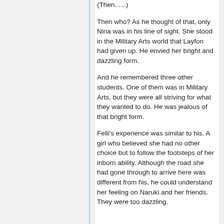(Then......)
Then who? As he thought of that, only Nina was in his line of sight. She stood in the Military Arts world that Layfon had given up. He envied her bright and dazzling form.
And he remembered three other students. One of them was in Military Arts, but they were all striving for what they wanted to do. He was jealous of that bright form.
Felli's experience was similar to his. A girl who believed she had no other choice but to follow the footsteps of her inborn ability. Although the road she had gone through to arrive here was different from his, he could understand her feeling on Naruki and her friends. They were too dazzling.